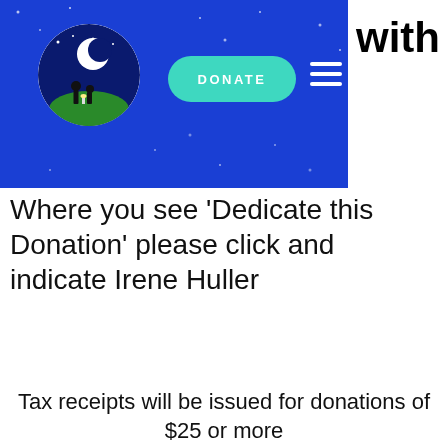[Figure (screenshot): Website navigation bar with blue background, circular logo showing two silhouettes under a moon, a teal DONATE button, and a hamburger menu icon. Partial text 'with' visible top right.]
Where you see 'Dedicate this Donation' please click and indicate Irene Huller
Tax receipts will be issued for donations of $25 or more
Stay connected with us on our social channels!
© 2022 – A Home Hospice Association Event